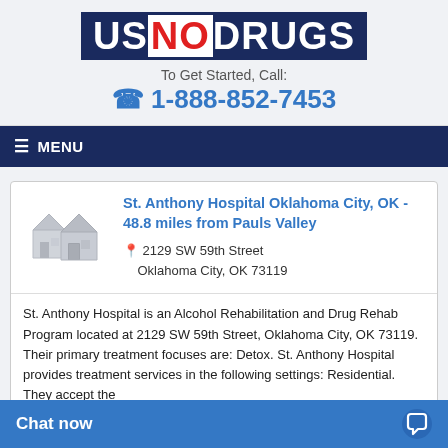[Figure (logo): USNODRUGS logo with US and DRUGS in white on dark navy background, NO in red on white]
To Get Started, Call:
1-888-852-7453
≡ MENU
St. Anthony Hospital Oklahoma City, OK - 48.8 miles from Pauls Valley
2129 SW 59th Street
Oklahoma City, OK 73119
St. Anthony Hospital is an Alcohol Rehabilitation and Drug Rehab Program located at 2129 SW 59th Street, Oklahoma City, OK 73119. Their primary treatment focuses are: Detox. St. Anthony Hospital provides treatment services in the following settings: Residential. They accept th... Medicare, Cash or Self-Pa...
Chat now